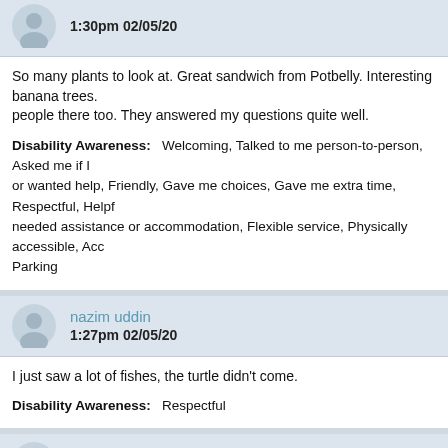1:30pm 02/05/20
So many plants to look at. Great sandwich from Potbelly. Interesting banana trees. people there too. They answered my questions quite well.
Disability Awareness: Welcoming, Talked to me person-to-person, Asked me if I or wanted help, Friendly, Gave me choices, Gave me extra time, Respectful, Helpf needed assistance or accommodation, Flexible service, Physically accessible, Acc Parking
nazim uddin
1:27pm 02/05/20
I just saw a lot of fishes, the turtle didn't come.
Disability Awareness: Respectful
Ignite Norwood Park
11:16am 01/13/20
Disability Awareness: Welcoming, Talked directly to the person/people with dis...